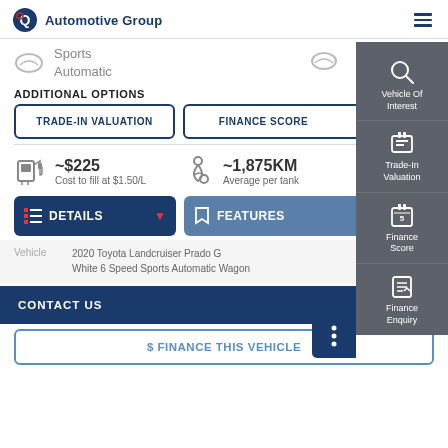Q Automotive Group
Sports
Automatic
ADDITIONAL OPTIONS
TRADE-IN VALUATION
FINANCE SCORE
~$225
Cost to fill at $1.50/L
~1,875KM
Average per tank
DETAILS
FEATURES
Vehicle
2020 Toyota Landcruiser Prado G White 6 Speed Sports Automatic Wagon
CONTACT US
$ FINANCE THIS VEHICLE
[Figure (screenshot): Side navigation panel with icons: Vehicle Of Interest (search icon), Trade-In Valuation (document icon), Finance Score (calendar icon), Finance Enquiry (checklist icon)]